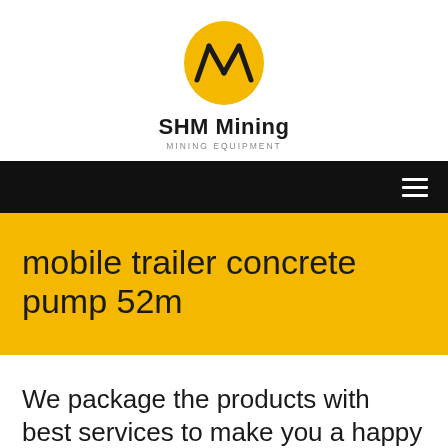[Figure (logo): SHM Mining logo: yellow oval with black diagonal lines forming a stylized 'M' shape, company name 'SHM Mining' below with subtitle 'MINING EQUIPMENT']
mobile trailer concrete pump 52m
We package the products with best services to make you a happy